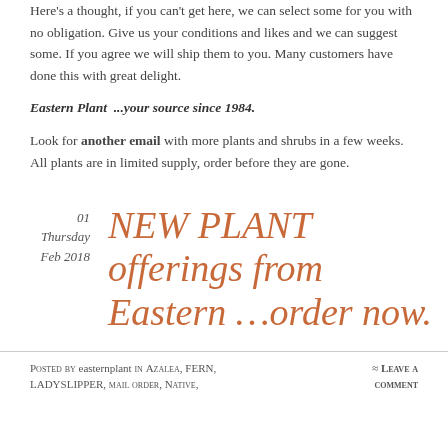Here's a thought, if you can't get here, we can select some for you with no obligation. Give us your conditions and likes and we can suggest some. If you agree we will ship them to you. Many customers have done this with great delight.
Eastern Plant ...your source since 1984.
Look for another email with more plants and shrubs in a few weeks. All plants are in limited supply, order before they are gone.
NEW PLANT offerings from Eastern …order now.
Posted by easternplant in Azalea, FERN, LADYSLIPPER, mail order, Native,
≈ Leave a comment